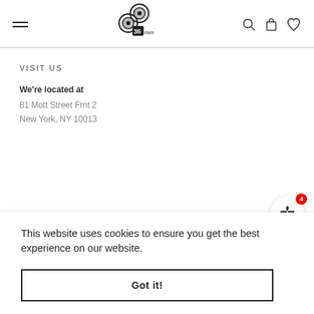35mm store logo with hamburger menu, search, cart, and heart icons
VISIT US
We're located at
81 Mott Street Frnt 2
New York, NY 10013
This website uses cookies to ensure you get the best experience on our website.
Got it!